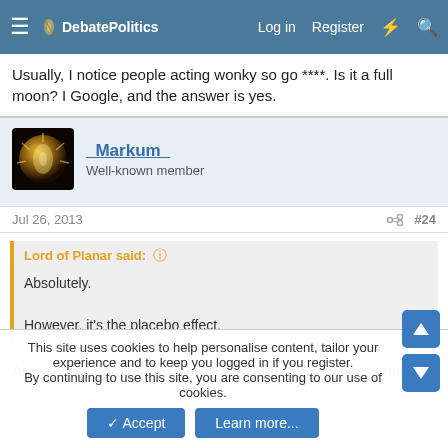DebatePolitics | Log in | Register
Usually, I notice people acting wonky so go ****. Is it a full moon? I Google, and the answer is yes.
_Markum_ Well-known member
Jul 26, 2013 #24
Lord of Planar said: Absolutely. However, it's the placebo effect.
Are you saying that the mind-over-matter explanation is more
This site uses cookies to help personalise content, tailor your experience and to keep you logged in if you register. By continuing to use this site, you are consenting to our use of cookies.
Accept | Learn more...